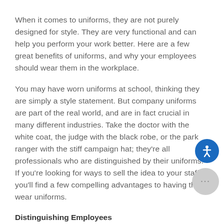When it comes to uniforms, they are not purely designed for style. They are very functional and can help you perform your work better. Here are a few great benefits of uniforms, and why your employees should wear them in the workplace.
You may have worn uniforms at school, thinking they are simply a style statement. But company uniforms are part of the real world, and are in fact crucial in many different industries. Take the doctor with the white coat, the judge with the black robe, or the park ranger with the stiff campaign hat; they're all professionals who are distinguished by their uniforms. If you're looking for ways to sell the idea to your staff, you'll find a few compelling advantages to having them wear uniforms.
Distinguishing Employees
In some workplaces, uniforms make it easier for customers or clients to distinguish workers in a crowd.